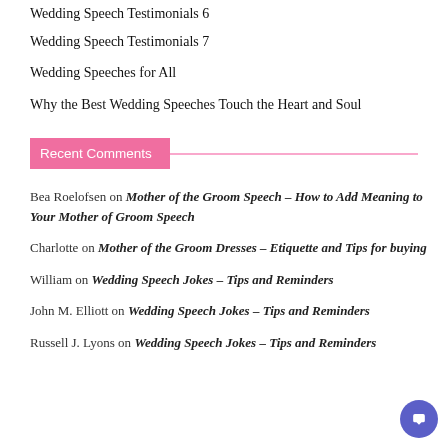Wedding Speech Testimonials 6
Wedding Speech Testimonials 7
Wedding Speeches for All
Why the Best Wedding Speeches Touch the Heart and Soul
Recent Comments
Bea Roelofsen on Mother of the Groom Speech – How to Add Meaning to Your Mother of Groom Speech
Charlotte on Mother of the Groom Dresses – Etiquette and Tips for buying
William on Wedding Speech Jokes – Tips and Reminders
John M. Elliott on Wedding Speech Jokes – Tips and Reminders
Russell J. Lyons on Wedding Speech Jokes – Tips and Reminders